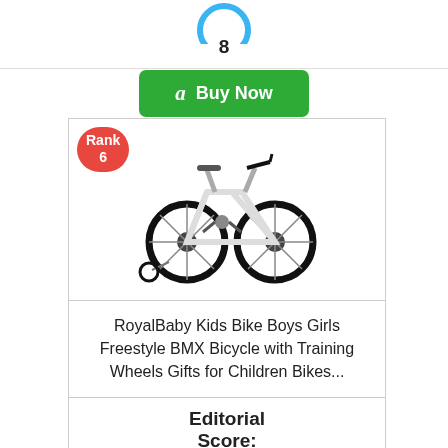[Figure (infographic): Score circle showing score, partially visible at top, with number 8 below it]
[Figure (infographic): Green Amazon Buy Now button]
[Figure (infographic): Red rank badge showing 'Rank 6' on product card]
[Figure (photo): White RoyalBaby kids freestyle BMX bicycle with training wheels]
RoyalBaby Kids Bike Boys Girls Freestyle BMX Bicycle with Training Wheels Gifts for Children Bikes...
Editorial Score:
[Figure (infographic): Blue circle score badge showing 9.4]